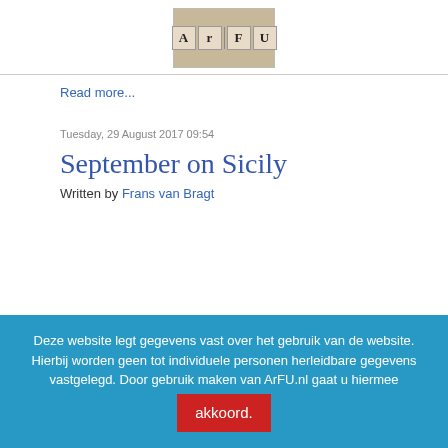[Figure (logo): ArFU logo made of scrabble-style letter tiles on a wooden background]
Read more...
Tuesday, 29 August 2017 09:54
September on Sicily
Written by Frans van Bragt
Deze website legt gegevens vast over het gebruik van de website. Hierbij worden geen tot individuele personen herleidbare gegevens vastgelegd. Door gebruik maken van ArFU.nl gaat u hiermee akkoord.